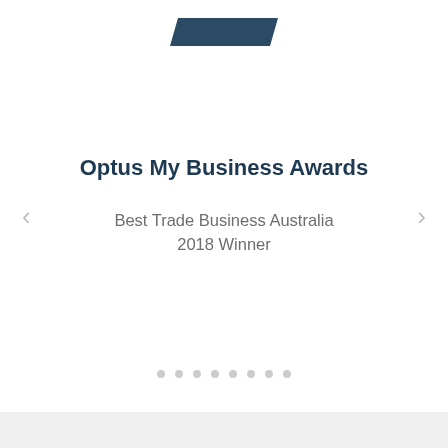[Figure (logo): Dark blue parallelogram/ribbon logo shape at top center]
Optus My Business Awards
Best Trade Business Australia 2018 Winner
[Figure (infographic): Navigation arrows (< and >) on left and right sides, and eight dot indicators at the bottom]